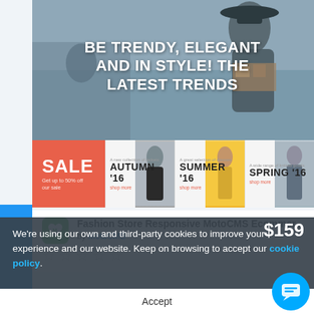[Figure (photo): Fashion hero banner with woman wearing hat and text overlay: BE TRENDY, ELEGANT AND IN STYLE! THE LATEST TRENDS]
[Figure (screenshot): Season sale strip with SALE box in orange-red, and three season panels: AUTUMN '16, SUMMER '16, SPRING '16 with model photos]
Fashion Store Responsive MotoCMS Ecommer...
by MotoCMS
[Figure (other): Five empty star rating icons]
$159
Fashion and MotoCMS Ecommerce template. Easy customizable theme with 24/7 accessible customer support.
We're using our own and third-party cookies to improve your experience and our website. Keep on browsing to accept our cookie policy.
Accept